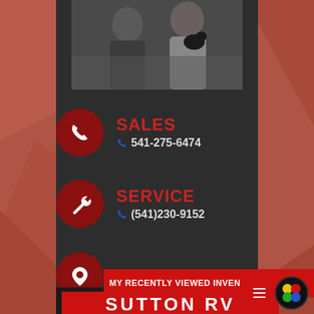[Figure (photo): Two people posing together, one holding a small black dog/puppy, both wearing dark jackets]
SALES
541-275-6474
SERVICE
(541)230-9152
[Figure (other): Location/map pin icon in a red circle]
[Figure (screenshot): Chat popup bubble with Sutton RV logo. Text: Hi there, have a question for Sutton RV? Text us here. With a close button.]
close
Hi there, have a question for Sutton RV? Text us here.
MY RECENTLY VIEWED INVEN
SUTTON RV